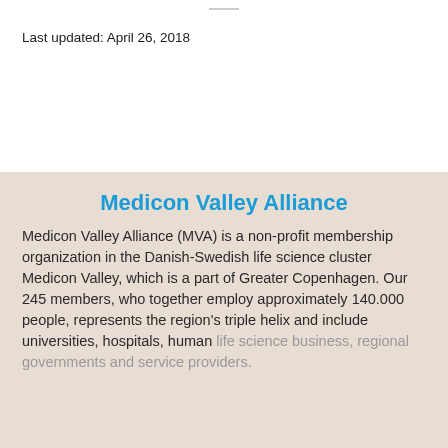Last updated:  April 26, 2018
Medicon Valley Alliance
Medicon Valley Alliance (MVA) is a non-profit membership organization in the Danish-Swedish life science cluster Medicon Valley, which is a part of Greater Copenhagen. Our 245 members, who together employ approximately 140.000 people, represents the region's triple helix and include universities, hospitals, human life science business, regional governments and service providers.
This website uses cookies to give you the best experience of our website.  Read more
Click here to read more about us!
Get in touch with us!
mva@mva.org
+45 70 20 15 03
Website